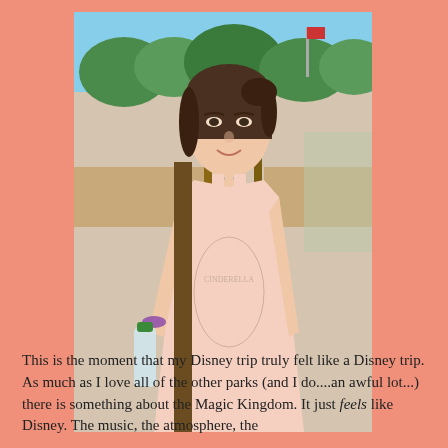[Figure (photo): A young woman with dark hair pulled back, wearing a pink sleeveless tank top with a Disney princess graphic, a blue lanyard with medals/pins around her neck, and a purple bracelet. She is holding a water bottle and standing outdoors at what appears to be a Disney theme park with wooden posts, fencing, and green trees in the background.]
This is the moment that my Disney trip truly felt like a Disney trip. As much as I love all of the other parks (and I do....an awful lot...) there is something about the Magic Kingdom. It just feels like Disney. The music, the atmosphere, the